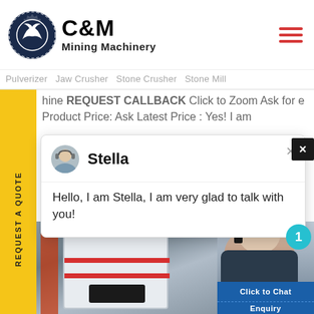[Figure (logo): C&M Mining Machinery logo with eagle and gear icon]
C&M Mining Machinery
Pulverizer  Jaw Crusher  Stone Crusher  Stone Mill
hine REQUEST CALLBACK Click to Zoom Ask for e Product Price: Ask Latest Price : Yes! I am
[Figure (screenshot): Chat popup with agent Stella saying: Hello, I am Stella, I am very glad to talk with you!]
Stella
Hello, I am Stella, I am very glad to talk with you!
[Figure (photo): Mining machinery equipment photo with white stone crusher machine]
Click to Chat
Enquiry
REQUEST A QUOTE